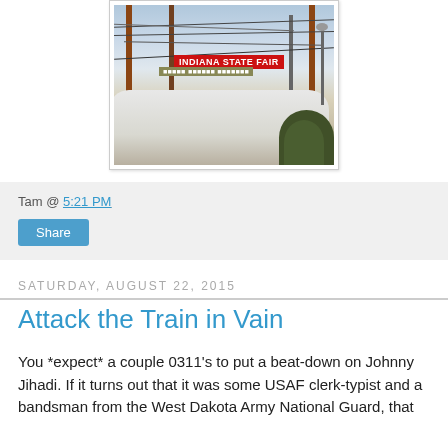[Figure (photo): Photo of Indiana State Fair sign visible above a tent structure, with utility poles and wires in the foreground against a cloudy sky. Red sign reads 'INDIANA STATE FAIR'.]
Tam @ 5:21 PM
Share
Saturday, August 22, 2015
Attack the Train in Vain
You *expect* a couple 0311's to put a beat-down on Johnny Jihadi. If it turns out that it was some USAF clerk-typist and a bandsman from the West Dakota Army National Guard, that